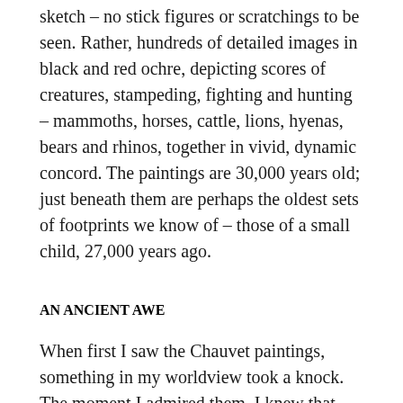sketch – no stick figures or scratchings to be seen. Rather, hundreds of detailed images in black and red ochre, depicting scores of creatures, stampeding, fighting and hunting – mammoths, horses, cattle, lions, hyenas, bears and rhinos, together in vivid, dynamic concord. The paintings are 30,000 years old; just beneath them are perhaps the oldest sets of footprints we know of – those of a small child, 27,000 years ago.
AN ANCIENT AWE
When first I saw the Chauvet paintings, something in my worldview took a knock. The moment I admired them, I knew that their artists were human – indisputably human – and whatever I thought that meant, my mind grew to accommodate them in my family, despite their